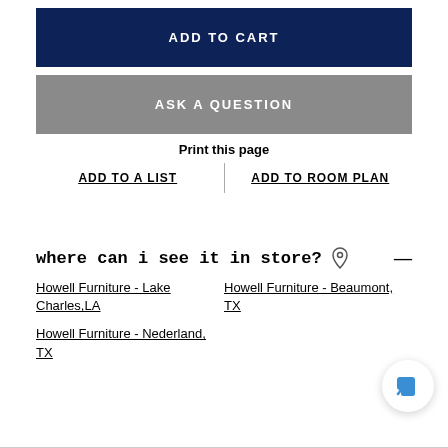ADD TO CART
ASK A QUESTION
Print this page
ADD TO A LIST
ADD TO ROOM PLAN
where can i see it in store?
Howell Furniture - Lake Charles,LA
Howell Furniture - Beaumont, TX
Howell Furniture - Nederland, TX